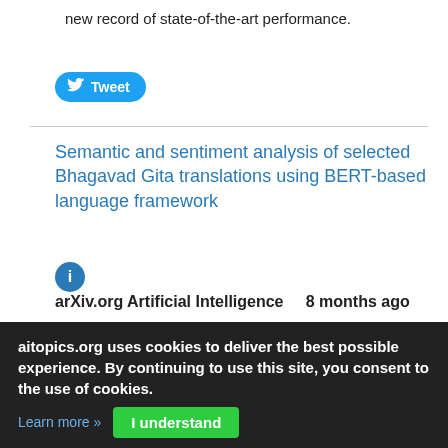new record of state-of-the-art performance.
[Figure (other): Twitter Tweet button with bird icon]
Semantic and sentiment analysis of selected Bhagavad Gita translations using BERT-based language framework
arXiv.org Artificial Intelligence    8 months ago
It is well known that translations of songs and poems not only breaks rhythm and rhyming patterns, but also results in loss of semantic information. The Bhagavad Gita is an ancient Hindu philosophical text originally written in Sanskrit that
[Figure (photo): Thumbnail image placeholder (gray rectangle)]
aitopics.org uses cookies to deliver the best possible experience. By continuing to use this site, you consent to the use of cookies.